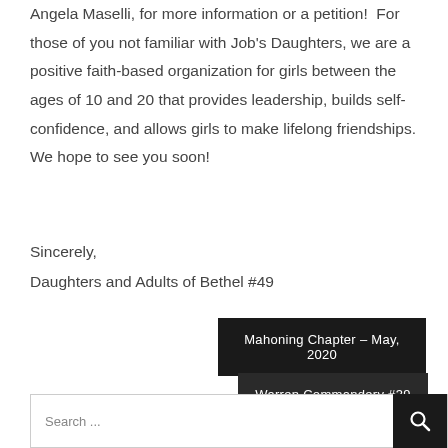Angela Maselli, for more information or a petition!  For those of you not familiar with Job's Daughters, we are a positive faith-based organization for girls between the ages of 10 and 20 that provides leadership, builds self-confidence, and allows girls to make lifelong friendships.  We hope to see you soon!
Sincerely,
Daughters and Adults of Bethel #49
Mahoning Chapter – May, 2020
Warren Commandery #39
Search ...